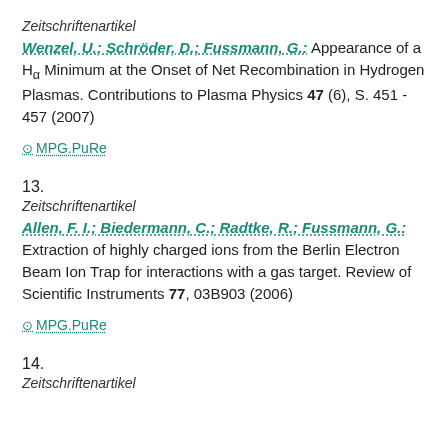Zeitschriftenartikel
Wenzel, U.; Schröder, D.; Fussmann, G.: Appearance of a Hα Minimum at the Onset of Net Recombination in Hydrogen Plasmas. Contributions to Plasma Physics 47 (6), S. 451 - 457 (2007)
MPG.PuRe
13.
Zeitschriftenartikel
Allen, F. I.; Biedermann, C.; Radtke, R.; Fussmann, G.: Extraction of highly charged ions from the Berlin Electron Beam Ion Trap for interactions with a gas target. Review of Scientific Instruments 77, 03B903 (2006)
MPG.PuRe
14.
Zeitschriftenartikel